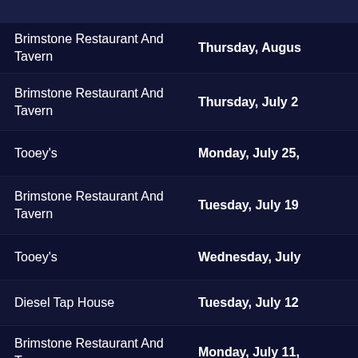Brimstone Restaurant And Tavern | Thursday, Augus
Brimstone Restaurant And Tavern | Thursday, July 2
Tooey's | Monday, July 25,
Brimstone Restaurant And Tavern | Tuesday, July 19
Tooey's | Wednesday, July
Diesel Tap House | Tuesday, July 12
Brimstone Restaurant And Tavern | Monday, July 11,